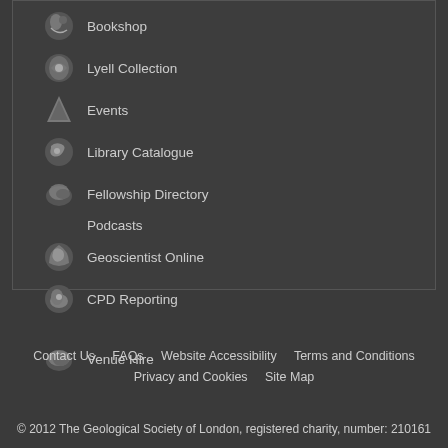Bookshop
Lyell Collection
Events
Library Catalogue
Fellowship Directory
Podcasts
Geoscientist Online
CPD Reporting
Venue Hire
Contact Us   FAQs   Website Accessibility   Terms and Conditions   Privacy and Cookies   Site Map
© 2012 The Geological Society of London, registered charity, number: 210161